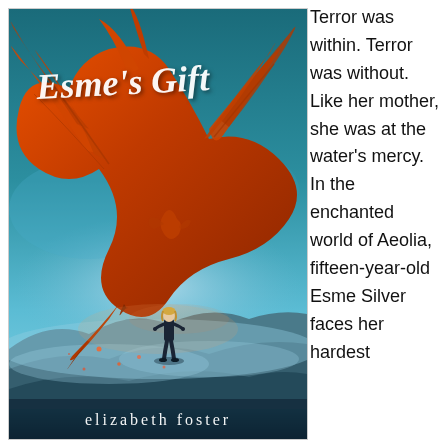[Figure (illustration): Book cover of 'Esme's Gift' by elizabeth foster. Features a large orange/red dragon with spread wings looming over a small standing human figure on rocky ground, with a teal/blue misty sky background. The title 'Esme's Gift' is written in white cursive script at the top, and the author name 'elizabeth foster' appears in white serif text at the bottom.]
Terror was within. Terror was without. Like her mother, she was at the water's mercy. In the enchanted world of Aeolia, fifteen-year-old Esme Silver faces her hardest